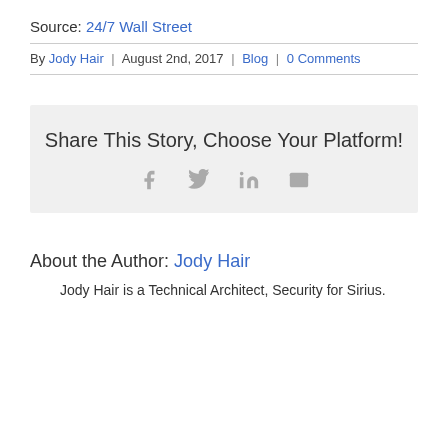Source: 24/7 Wall Street
By Jody Hair | August 2nd, 2017 | Blog | 0 Comments
[Figure (infographic): Share This Story, Choose Your Platform! with social media icons: Facebook, Twitter, LinkedIn, Email]
About the Author: Jody Hair
Jody Hair is a Technical Architect, Security for Sirius.